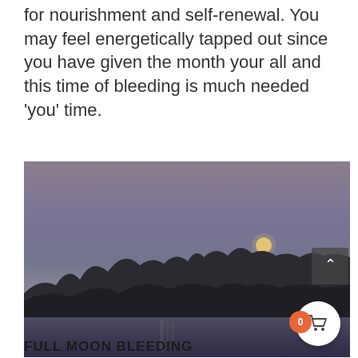for nourishment and self-renewal. You may feel energetically tapped out since you have given the month your all and this time of bleeding is much needed ‘you’ time.
[Figure (photo): Night or dusk landscape photograph showing a full moon rising above a treeline silhouetted against a purple-grey sky, with a river or lake in the foreground reflecting faint light. A scroll-up button is visible in the top-right corner of the image overlay.]
FULL MOON BLEEDING